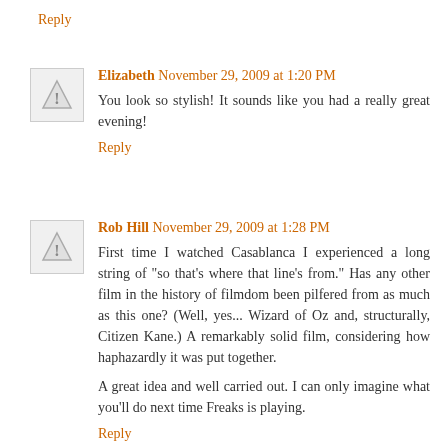Reply
Elizabeth November 29, 2009 at 1:20 PM
You look so stylish! It sounds like you had a really great evening!
Reply
Rob Hill November 29, 2009 at 1:28 PM
First time I watched Casablanca I experienced a long string of "so that's where that line's from." Has any other film in the history of filmdom been pilfered from as much as this one? (Well, yes... Wizard of Oz and, structurally, Citizen Kane.) A remarkably solid film, considering how haphazardly it was put together.

A great idea and well carried out. I can only imagine what you'll do next time Freaks is playing.
Reply